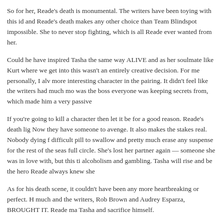So for her, Reade's death is monumental. The writers have been toying with this id and Reade's death makes any other choice than Team Blindspot impossible. She to never stop fighting, which is all Reade ever wanted from her.
Could he have inspired Tasha the same way ALIVE and as her soulmate like Kurt where we get into this wasn't an entirely creative decision. For me personally, I alv more interesting character in the pairing. It didn't feel like the writers had much mo was the boss everyone was keeping secrets from, which made him a very passive
If you're going to kill a character then let it be for a good reason. Reade's death lig Now they have someone to avenge. It also makes the stakes real. Nobody dying f difficult pill to swallow and pretty much erase any suspense for the rest of the seas full circle. She's lost her partner again — someone she was in love with, but this ti alcoholism and gambling. Tasha will rise and be the hero Reade always knew she
As for his death scene, it couldn't have been any more heartbreaking or perfect. H much and the writers, Rob Brown and Audrey Esparza, BROUGHT IT. Reade ma Tasha and sacrifice himself.
Tasha literally dragged a corpse across a living room for Reade; she's his person. and vice versa. It was perfect that Edgar's goodbye to Tasha didn't include sayings Reade's relationship was about partnership and having each other's back. The lov